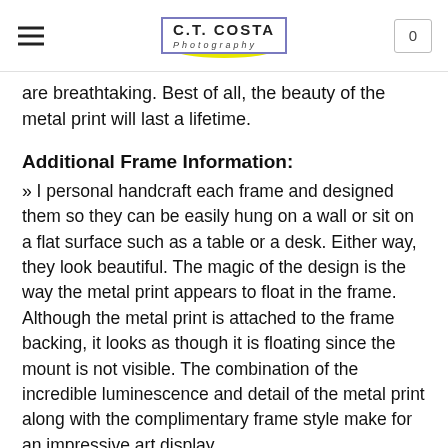C.T. COSTA Photography | 0
are breathtaking. Best of all, the beauty of the metal print will last a lifetime.
Additional Frame Information:
» I personal handcraft each frame and designed them so they can be easily hung on a wall or sit on a flat surface such as a table or a desk. Either way, they look beautiful. The magic of the design is the way the metal print appears to float in the frame. Although the metal print is attached to the frame backing, it looks as though it is floating since the mount is not visible. The combination of the incredible luminescence and detail of the metal print along with the complimentary frame style make for an impressive art display.
If you have any questions, please feel free to send me a message